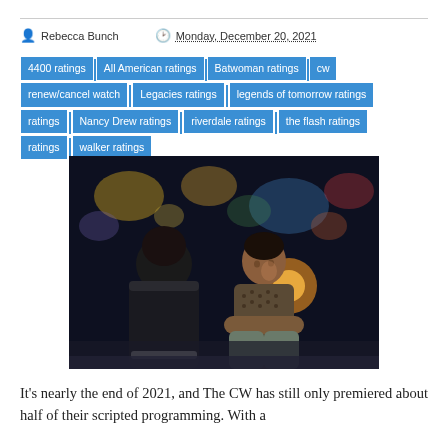Rebecca Bunch  Monday, December 20, 2021
4400 ratings
All American ratings
Batwoman ratings
cw renew/cancel watch
Legacies ratings
legends of tomorrow ratings
Nancy Drew ratings
riverdale ratings
the flash ratings
walker ratings
[Figure (photo): Two people sitting outdoors at night near a pool, one facing away wearing a black letterman jacket, the other a young Black man in a patterned vest looking at the first person, with blurred colorful lights in the background.]
It's nearly the end of 2021, and The CW has still only premiered about half of their scripted programming. With a